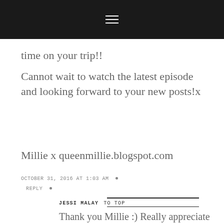☰
time on your trip!!
Cannot wait to watch the latest episode and looking forward to your new posts!x
Millie x queenmillie.blogspot.com
OCTOBER 31, 2016 AT 1:03 AM •
REPLY •
JESSI MALAY   TO TOP
Thank you Millie :) Really appreciate all